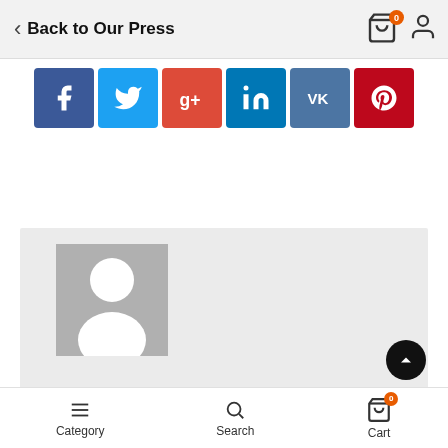Back to Our Press
[Figure (infographic): Social media sharing buttons: Facebook (blue), Twitter (light blue), Google+ (red), LinkedIn (blue), VK (slate blue), Pinterest (dark red)]
[Figure (photo): Gray placeholder profile card with default user avatar silhouette on light gray background]
Category   Search   Cart